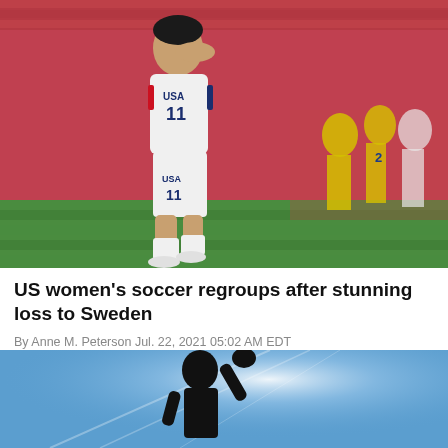[Figure (photo): A US women's soccer player wearing white USA jersey number 11 walks dejectedly with hand on forehead, while Swedish players in yellow celebrate in the background on a soccer field with red stadium seats.]
US women's soccer regroups after stunning loss to Sweden
By Anne M. Peterson Jul. 22, 2021 05:02 AM EDT
[Figure (photo): A silhouette of an athlete with fist raised against a bright blue sky with light rays, suggesting a moment of triumph or protest.]